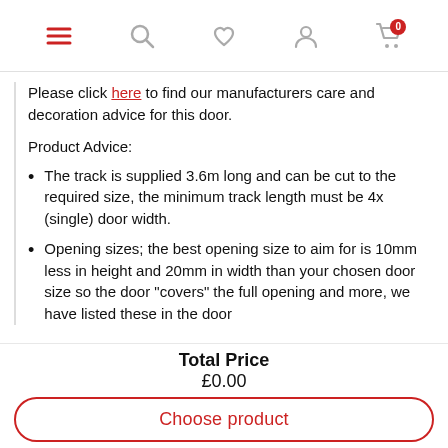[Navigation bar with menu, search, wishlist, account, cart icons]
Please click here to find our manufacturers care and decoration advice for this door.
Product Advice:
The track is supplied 3.6m long and can be cut to the required size, the minimum track length must be 4x (single) door width.
Opening sizes; the best opening size to aim for is 10mm less in height and 20mm in width than your chosen door size so the door "covers" the full opening and more, we have listed these in the door
Total Price
£0.00
Choose product